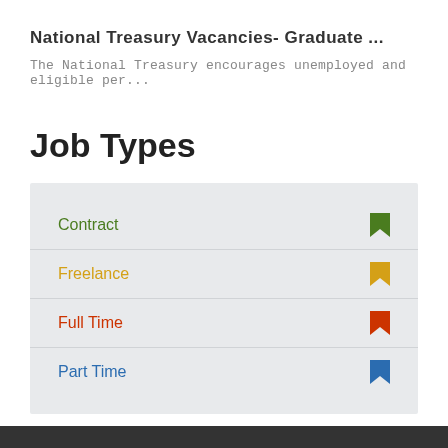National Treasury Vacancies- Graduate ...
The National Treasury encourages unemployed and eligible per...
Job Types
Contract
Freelance
Full Time
Part Time